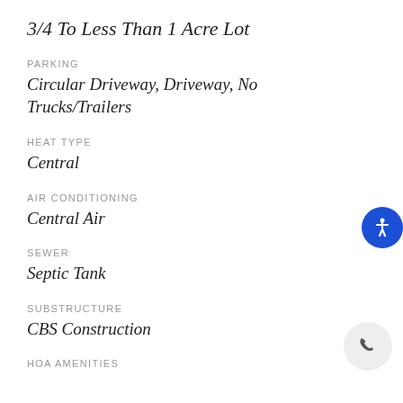3/4 To Less Than 1 Acre Lot
PARKING
Circular Driveway, Driveway, No Trucks/Trailers
HEAT TYPE
Central
AIR CONDITIONING
Central Air
SEWER
Septic Tank
SUBSTRUCTURE
CBS Construction
HOA AMENITIES